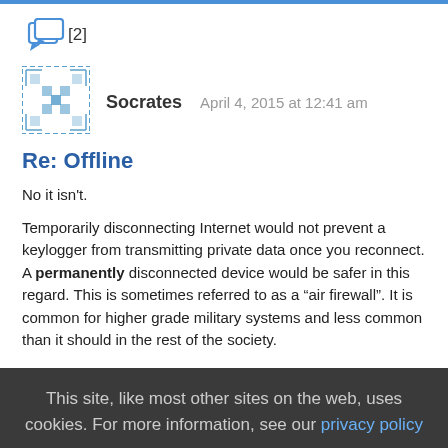[Figure (other): Comment/chat icon with [2] badge]
[Figure (other): User avatar icon - decorative blue pixel/pattern avatar for Socrates]
Socrates   April 4, 2015 at 12:41 am
Re: Offline
No it isn't.
Temporarily disconnecting Internet would not prevent a keylogger from transmitting private data once you reconnect. A permanently disconnected device would be safer in this regard. This is sometimes referred to as a “air firewall”. It is common for higher grade military systems and less common than it should in the rest of the society.
This site, like most other sites on the web, uses cookies. For more information, see our privacy policy  GOT IT